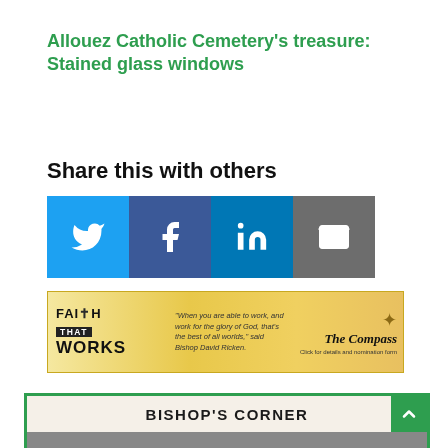Allouez Catholic Cemetery's treasure: Stained glass windows
Share this with others
[Figure (infographic): Four social share buttons: Twitter (blue), Facebook (dark blue), LinkedIn (blue), Email (grey)]
[Figure (infographic): Faith That Works advertisement banner for The Compass newspaper with golden background]
BISHOP'S CORNER
[Figure (photo): Bishop's Corner section with partial photo visible at bottom]